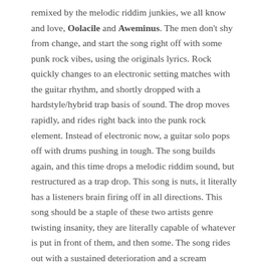remixed by the melodic riddim junkies, we all know and love, Oolacile and Aweminus. The men don't shy from change, and start the song right off with some punk rock vibes, using the originals lyrics. Rock quickly changes to an electronic setting matches with the guitar rhythm, and shortly dropped with a hardstyle/hybrid trap basis of sound. The drop moves rapidly, and rides right back into the punk rock element. Instead of electronic now, a guitar solo pops off with drums pushing in tough. The song builds again, and this time drops a melodic riddim sound, but restructured as a trap drop. This song is nuts, it literally has a listeners brain firing off in all directions. This song should be a staple of these two artists genre twisting insanity, they are literally capable of whatever is put in front of them, and then some. The song rides out with a sustained deterioration and a scream glitched to pieces, so epic.